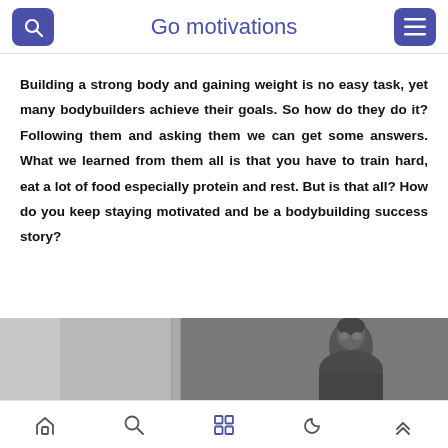Go motivations
Building a strong body and gaining weight is no easy task, yet many bodybuilders achieve their goals. So how do they do it? Following them and asking them we can get some answers. What we learned from them all is that you have to train hard, eat a lot of food especially protein and rest. But is that all? How do you keep staying motivated and be a bodybuilding success story?
[Figure (photo): A horizontal photo strip showing partial images of people, with a black and white photograph of a person (bodybuilder) on the right side.]
Navigation bar with home, search, grid, moon, and up-arrow icons